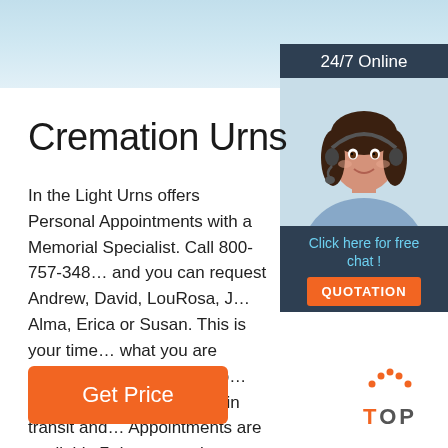[Figure (illustration): Light blue gradient banner across the top of the page]
Cremation Urns
In the Light Urns offers Personal Appointments with a Memorial Specialist. Call 800-757-348 and you can request Andrew, David, LouRosa, Alma, Erica or Susan. This is your time to find what you are looking for, answer questions about urn sizes, engraving, time in transit and more. Appointments are available 7 days a week.
[Figure (infographic): Sidebar widget with dark navy background showing '24/7 Online' header, photo of a female customer service agent wearing a headset, 'Click here for free chat!' text in blue, and an orange QUOTATION button]
[Figure (logo): TOP logo with orange dotted triangle/arc above the word TOP in gray letters with orange T]
Get Price